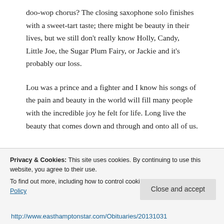doo-wop chorus? The closing saxophone solo finishes with a sweet-tart taste; there might be beauty in their lives, but we still don't really know Holly, Candy, Little Joe, the Sugar Plum Fairy, or Jackie and it's probably our loss.
Lou was a prince and a fighter and I know his songs of the pain and beauty in the world will fill many people with the incredible joy he felt for life. Long live the beauty that comes down and through and onto all of us.
Privacy & Cookies: This site uses cookies. By continuing to use this website, you agree to their use. To find out more, including how to control cookies, see here: Cookie Policy
Close and accept
http://www.easthamptonstar.com/Obituaries/20131031